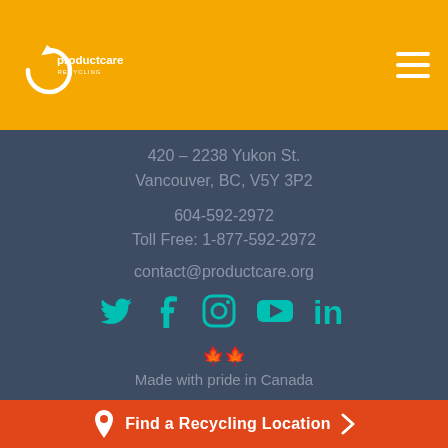Product Care Recycling logo and navigation menu
420 – 2238 Yukon St.
Vancouver, BC, V5Y 3P2
604-592-2972
Toll Free: 1-877-592-2972
contact@productcare.org
[Figure (infographic): Social media icons: Twitter, Facebook, Instagram, YouTube, LinkedIn in teal color]
🍁🍁
Made with pride in Canada
Find a Recycling Location